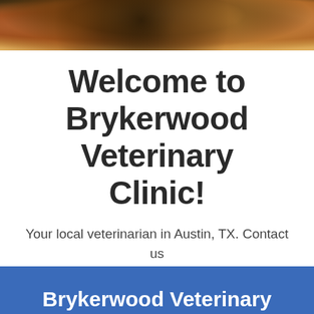[Figure (photo): Banner photo of a cat/dog animal with brown and orange fur tones, cropped to show top portion]
Welcome to Brykerwood Veterinary Clinic!
Your local veterinarian in Austin, TX. Contact us today to schedule your appointment.
[Figure (other): Orange 'Contact Us' button]
Brykerwood Veterinary